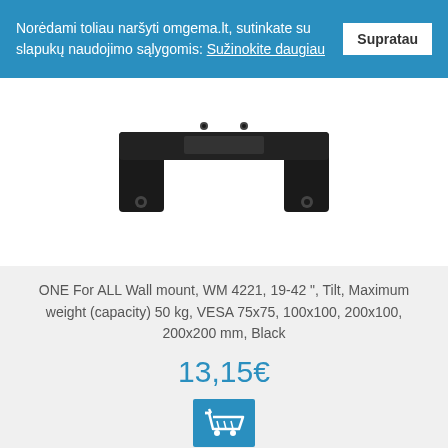Norėdami toliau naršyti omgema.lt, sutinkate su slapukų naudojimo sąlygomis: Sužinokite daugiau
Supratau
[Figure (photo): Wall mount bracket, black, top portion visible - a U-shaped metal TV wall mount bracket]
ONE For ALL Wall mount, WM 4221, 19-42 ", Tilt, Maximum weight (capacity) 50 kg, VESA 75x75, 100x100, 200x100, 200x200 mm, Black
13,15€
[Figure (illustration): Shopping cart icon in white on blue background]
[Figure (photo): Articulating/full-motion TV wall mount bracket in black, showing arm joints and mounting plate]